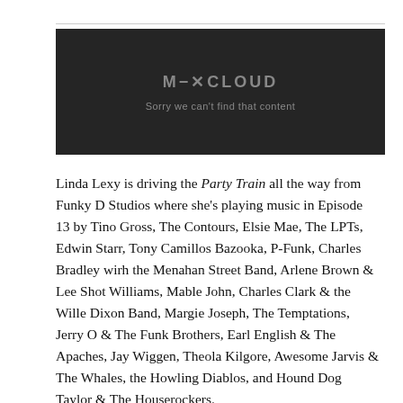[Figure (screenshot): Mixcloud embedded player showing error message: M-XCLOUD / Sorry we can't find that content, on a dark background.]
Linda Lexy is driving the Party Train all the way from Funky D Studios where she's playing music in Episode 13 by Tino Gross, The Contours, Elsie Mae, The LPTs, Edwin Starr, Tony Camillos Bazooka, P-Funk, Charles Bradley wirh the Menahan Street Band, Arlene Brown & Lee Shot Williams, Mable John, Charles Clark & the Wille Dixon Band, Margie Joseph, The Temptations, Jerry O & The Funk Brothers, Earl English & The Apaches, Jay Wiggen, Theola Kilgore, Awesome Jarvis & The Whales, the Howling Diablos, and Hound Dog Taylor & The Houserockers.